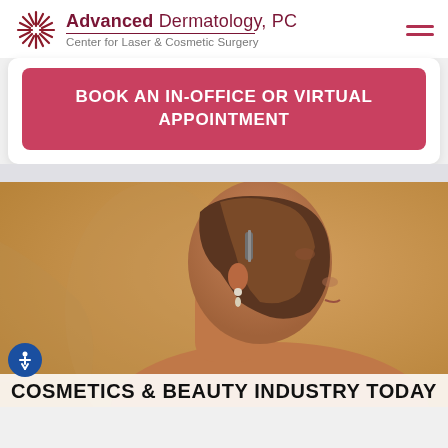[Figure (logo): Advanced Dermatology PC logo with red starburst/laser icon, company name and tagline 'Center for Laser & Cosmetic Surgery']
BOOK AN IN-OFFICE OR VIRTUAL APPOINTMENT
[Figure (photo): Side profile portrait of a woman with brown hair pulled back, wearing a drop earring, warm golden background]
COSMETICS & BEAUTY INDUSTRY TODAY